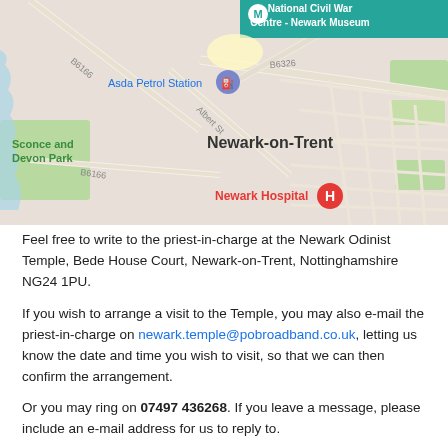[Figure (map): Google Maps screenshot showing Newark-on-Trent area with landmarks: National Civil War Centre - Newark Museum, Asda Petrol Station, Sconce and Devon Park, Newark Hospital, and roads B6166, B6326, Albert St.]
Feel free to write to the priest-in-charge at the Newark Odinist Temple, Bede House Court, Newark-on-Trent, Nottinghamshire NG24 1PU.
If you wish to arrange a visit to the Temple, you may also e-mail the priest-in-charge on newark.temple@pobroadband.co.uk, letting us know the date and time you wish to visit, so that we can then confirm the arrangement.
Or you may ring on 07497 436268. If you leave a message, please include an e-mail address for us to reply to.
For information about the Odinist Fellowship, its teachings